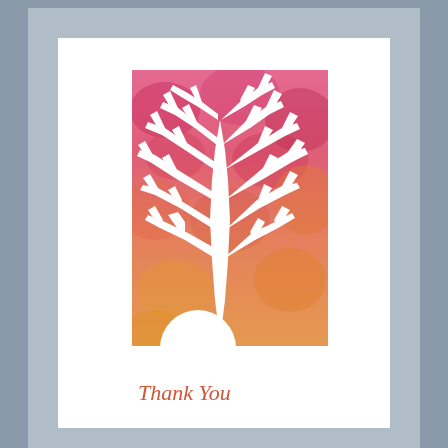[Figure (photo): A handmade greeting card photographed close-up. The card is white with a white die-cut tree silhouette overlay mounted on a colorful watercolor background. The watercolor background transitions from pink/red at the top to orange/yellow at the bottom. The tree branches spread across the upper portion of the rectangular panel. At the bottom of the card, cursive script reads 'Thank You'. The card is set against a gray background.]